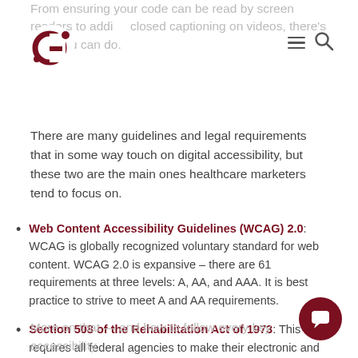From ensuring your code can be read by screen readers to adding closed captioning on videos, there's a lot you can do.
[Figure (logo): Circular logo with stylized G in dark red]
There are many guidelines and legal requirements that in some way touch on digital accessibility, but these two are the main ones healthcare marketers tend to focus on.
Web Content Accessibility Guidelines (WCAG) 2.0: WCAG is globally recognized voluntary standard for web content. WCAG 2.0 is expansive – there are 61 requirements at three levels: A, AA, and AAA. It is best practice to strive to meet A and AA requirements.
Section 508 of the Rehabilitation Act of 1973: This law requires all federal agencies to make their electronic and information technology (EIT) accessible to people with disabilities.
More on that — and how to follow every key accessibility...